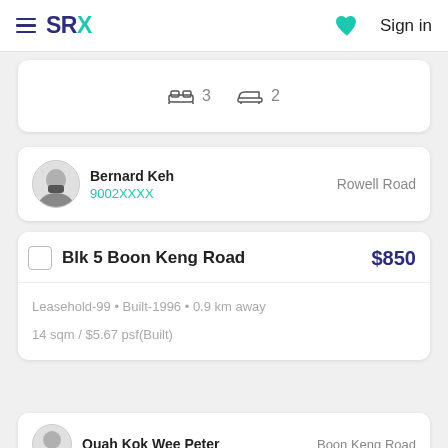SRX — Sign in
3 bedrooms, 2 bathrooms
Bernard Keh | 9002XXXX | Rowell Road
Blk 5 Boon Keng Road — $850
Leasehold-99 • Built-1996 • 0.9 km away
14 sqm / $5.67 psf(Built)
Quah Kok Wee Peter | Boon Keng Road